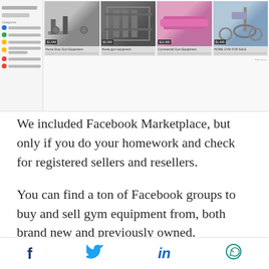[Figure (screenshot): Facebook Marketplace screenshot showing gym equipment listings including treadmill, weight rack, resistance bands, and exercise bike with category sidebar on the left]
We included Facebook Marketplace, but only if you do your homework and check for registered sellers and resellers.
You can find a ton of Facebook groups to buy and sell gym equipment from, both brand new and previously owned.
However, it’s best to transact with legitimate stores like the ones mentioned above. If you find some really great deals, you can arrange a
[Figure (infographic): Social media sharing bar with Facebook, Twitter, LinkedIn, and WhatsApp icons]